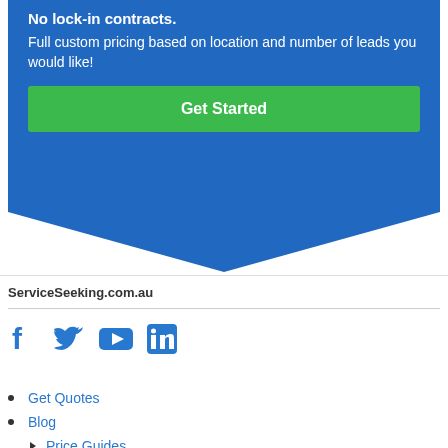No lock-in contracts.
Full custom pricing based on location and number of leads you would like!
Get Started
ServiceSeeking.com.au
[Figure (illustration): Social media icons: Facebook, Twitter, YouTube, LinkedIn]
Get Quotes
Blog
Price Guides